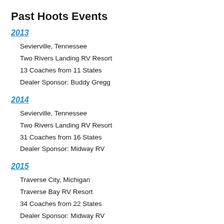Past Hoots Events
2013
Sevierville, Tennessee
Two Rivers Landing RV Resort
13 Coaches from 11 States
Dealer Sponsor: Buddy Gregg
2014
Sevierville, Tennessee
Two Rivers Landing RV Resort
31 Coaches from 16 States
Dealer Sponsor: Midway RV
2015
Traverse City, Michigan
Traverse Bay RV Resort
34 Coaches from 22 States
Dealer Sponsor: Midway RV
2016